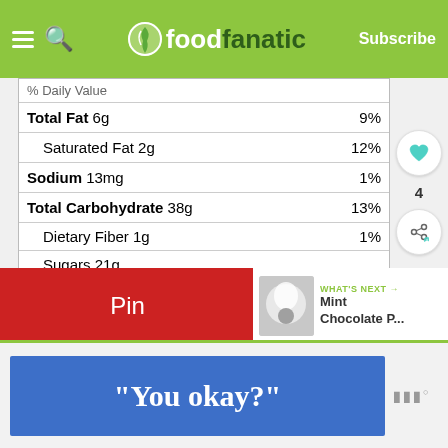foodfanatic — Subscribe
| Nutrient | Amount | % Daily Value |
| --- | --- | --- |
| % Daily Value |  |  |
| Total Fat 6g |  | 9% |
| Saturated Fat 2g |  | 12% |
| Sodium 13mg |  | 1% |
| Total Carbohydrate 38g |  | 13% |
| Dietary Fiber 1g |  | 1% |
| Sugars 21g |  |  |
| Protein 1g |  | 3% |
* Percent Daily Value are based on a 2,000 calorie diet. Your daily values may be higher or lower depending on your calorie needs. ** Nutrition Facts are estimated based on ingredients and data provided by Fat Secret. Please consult a doctor if you have special dietary needs.
Pin
WHAT'S NEXT → Mint Chocolate P...
[Figure (screenshot): Advertisement banner reading "You okay?" in white bold serif font on blue background, with a small logo on the right]